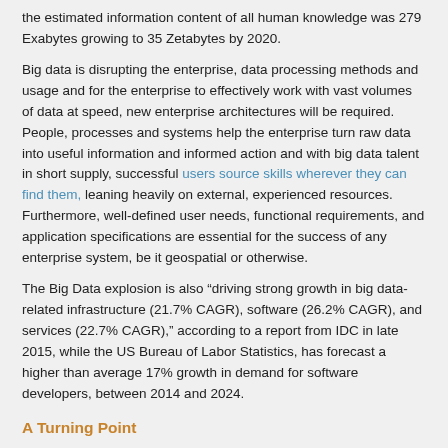the estimated information content of all human knowledge was 279 Exabytes growing to 35 Zetabytes by 2020.
Big data is disrupting the enterprise, data processing methods and usage and for the enterprise to effectively work with vast volumes of data at speed, new enterprise architectures will be required. People, processes and systems help the enterprise turn raw data into useful information and informed action and with big data talent in short supply, successful users source skills wherever they can find them, leaning heavily on external, experienced resources. Furthermore, well-defined user needs, functional requirements, and application specifications are essential for the success of any enterprise system, be it geospatial or otherwise.
The Big Data explosion is also “driving strong growth in big data-related infrastructure (21.7% CAGR), software (26.2% CAGR), and services (22.7% CAGR),” according to a report from IDC in late 2015, while the US Bureau of Labor Statistics, has forecast a higher than average 17% growth in demand for software developers, between 2014 and 2024.
A Turning Point
The AGI Foresight Report 2020, from 2015 highlights the fact, that the geospatial industry is at an existential point in its history. Industry change will only be driven, through the recognition of the latent possibilities of data and data value-add services, and this requires a fundamental and deep understanding of the relationship with digital data. At this time, the inability of the industry to succinctly explain the usefulness or value of their data, tools or services coupled with a perception of an “inner sanctum of GIS” are holding the industry back. To “ditch this image” and change from seeing itself as a data provider and become a data service will present the geospatial industry,